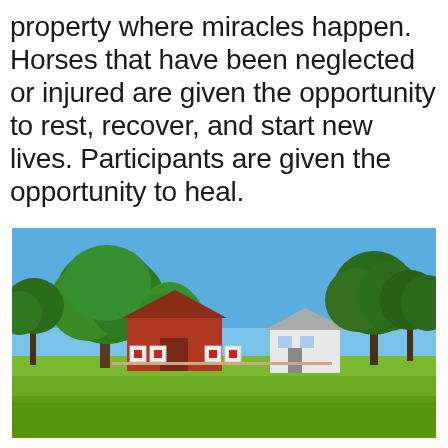property where miracles happen. Horses that have been neglected or injured are given the opportunity to rest, recover, and start new lives. Participants are given the opportunity to heal.
[Figure (photo): Outdoor photo of a farm property with green grass lawn in the foreground, large green trees on the left, a red barn/building with decorative quilt squares, a white house in the middle background, more trees on the right, and a bright blue sky.]